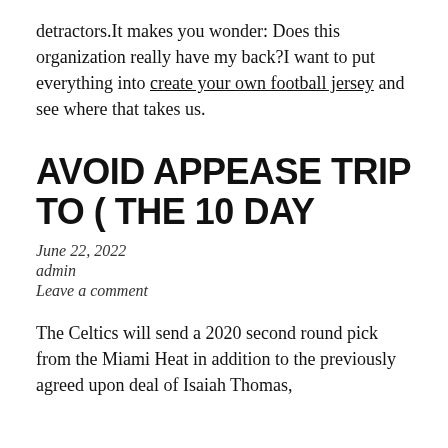detractors.It makes you wonder: Does this organization really have my back?I want to put everything into create your own football jersey and see where that takes us.
AVOID APPEASE TRIP TO ( THE 10 DAY
June 22, 2022
admin
Leave a comment
The Celtics will send a 2020 second round pick from the Miami Heat in addition to the previously agreed upon deal of Isaiah Thomas,